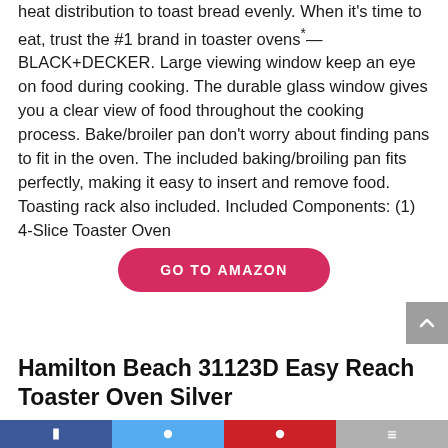heat distribution to toast bread evenly. When it's time to eat, trust the #1 brand in toaster ovens*—BLACK+DECKER. Large viewing window keep an eye on food during cooking. The durable glass window gives you a clear view of food throughout the cooking process. Bake/broiler pan don't worry about finding pans to fit in the oven. The included baking/broiling pan fits perfectly, making it easy to insert and remove food. Toasting rack also included. Included Components: (1) 4-Slice Toaster Oven
GO TO AMAZON
Hamilton Beach 31123D Easy Reach Toaster Oven Silver
[social share bar]